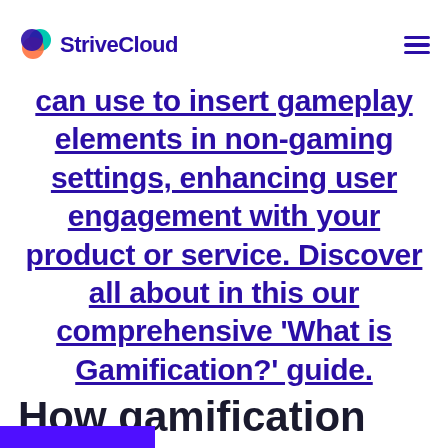StriveCloud
can use to insert gameplay elements in non-gaming settings, enhancing user engagement with your product or service. Discover all about in this our comprehensive ‘What is Gamification?’ guide.
How gamification